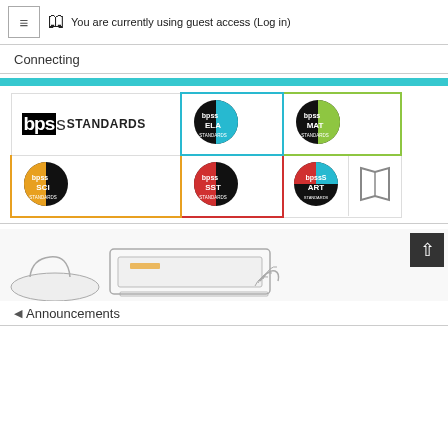≡  [map icon]  You are currently using guest access (Log in)
Connecting
[Figure (logo): BPSS Standards logo grid with ELA, MAT, SCI, SST, ART, and book icon sub-logos]
[Figure (illustration): Line illustration of a person using a laptop/computer, bottom of page]
◄ Announcements